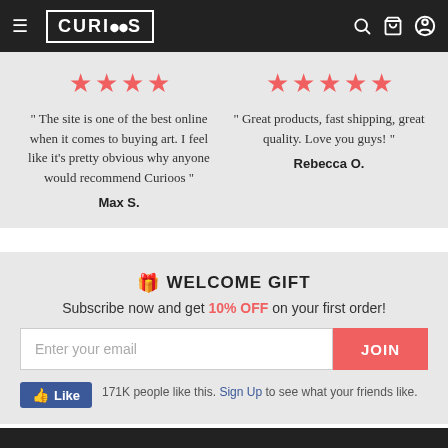[Figure (screenshot): Curioos website navigation bar with hamburger menu, Curioos logo in bordered box, search icon, cart icon, and user account icon on dark background]
" The site is one of the best online when it comes to buying art. I feel like it's pretty obvious why anyone would recommend Curioos "
Max S.
" Great products, fast shipping, great quality. Love you guys! "
Rebecca O.
🎁 WELCOME GIFT
Subscribe now and get 10% OFF on your first order!
Enter your email
JOIN
👍 Like   171K people like this. Sign Up to see what your friends like.